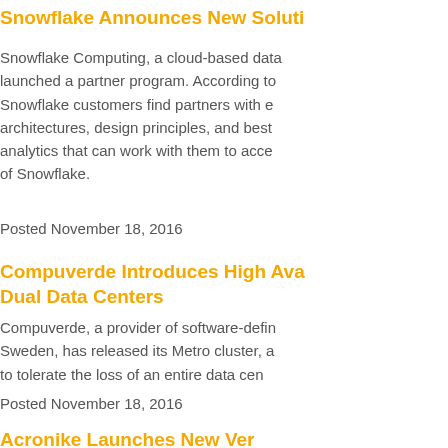Snowflake Announces New Soluti…
Snowflake Computing, a cloud-based data… launched a partner program. According to… Snowflake customers find partners with e… architectures, design principles, and best… analytics that can work with them to acce… of Snowflake.
Posted November 18, 2016
Compuverde Introduces High Ava… Dual Data Centers
Compuverde, a provider of software-defin… Sweden, has released its Metro cluster, a… to tolerate the loss of an entire data cen…
Posted November 18, 2016
Acronike Launches New Ver…